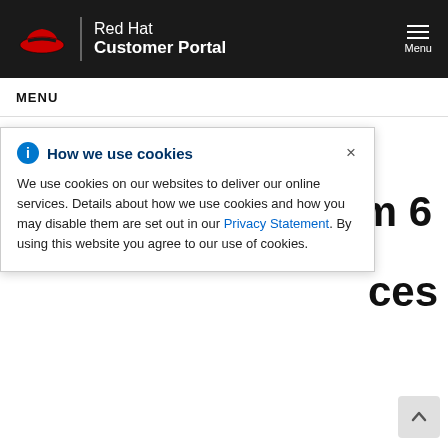Red Hat Customer Portal
MENU
18.2.2. Non-clustered
How we use cookies
We use cookies on our websites to deliver our online services. Details about how we use cookies and how you may disable them are set out in our Privacy Statement. By using this website you agree to our use of cookies.
A non-clustered instance is a single Amazon EC2